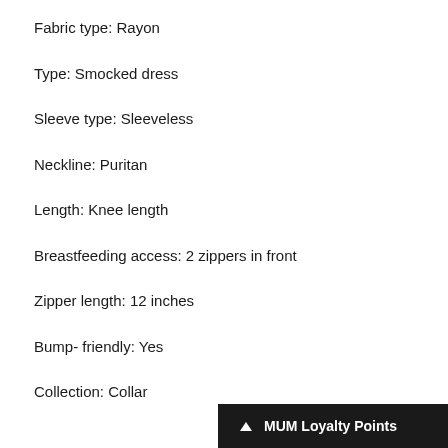Fabric type: Rayon
Type: Smocked dress
Sleeve type: Sleeveless
Neckline: Puritan
Length: Knee length
Breastfeeding access: 2 zippers in front
Zipper length: 12 inches
Bump- friendly: Yes
Collection: Collar
MUM Loyalty Points